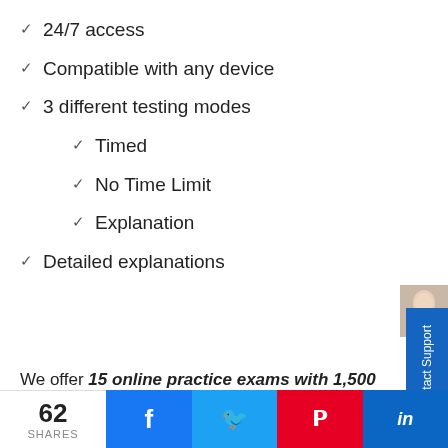24/7 access
Compatible with any device
3 different testing modes
Timed
No Time Limit
Explanation
Detailed explanations
We offer 15 online practice exams with 1,500 unique questions. Our world-class practice certification tests are designed to give you the knowledge you need to pass your TExES Chemistry 7-12 certification exam. We do this by delivering realistic practice tests that
[Figure (photo): Customer support representative photo thumbnail]
Contact Support
62 SHARES
Facebook, Twitter, Pinterest, LinkedIn share buttons